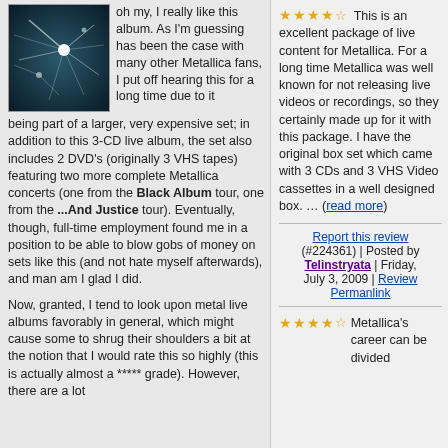[Figure (photo): Album cover art with dark blue/teal abstract light streaks design]
oh my, I really like this album. As I'm guessing has been the case with many other Metallica fans, I put off hearing this for a long time due to it being part of a larger, very expensive set; in addition to this 3-CD live album, the set also includes 2 DVD's (originally 3 VHS tapes) featuring two more complete Metallica concerts (one from the Black Album tour, one from the ...And Justice tour). Eventually, though, full-time employment found me in a position to be able to blow gobs of money on sets like this (and not hate myself afterwards), and man am I glad I did.
Now, granted, I tend to look upon metal live albums favorably in general, which might cause some to shrug their shoulders a bit at the notion that I would rate this so highly (this is actually almost a ***** grade). However, there are a lot
This is an excellent package of live content for Metallica. For a long time Metallica was well known for not releasing live videos or recordings, so they certainly made up for it with this package. I have the original box set which came with 3 CDs and 3 VHS Video cassettes in a well designed box. ... (read more)
Report this review (#224361) | Posted by Telinstryata | Friday, July 3, 2009 | Review Permanlink
Metallica's career can be divided